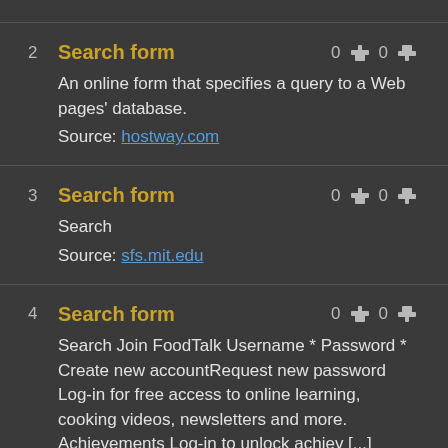2 Search form — 0 up 0 down
An online form that specifies a query to a Web pages' database.
Source: hostway.com
3 Search form — 0 up 0 down
Search
Source: sfs.mit.edu
4 Search form — 0 up 0 down
Search Join FoodTalk Username * Password * Create new accountRequest new password Log-in for free access to online learning, cooking videos, newsletters and more. Achievements Log-in to unlock achiev [...]